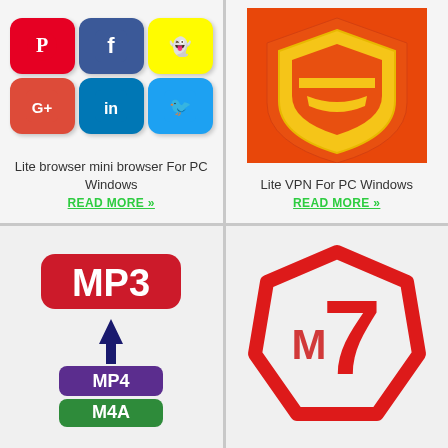[Figure (illustration): Social media app icons grid: Pinterest, Facebook, Snapchat, Google+, LinkedIn, Twitter]
Lite browser mini browser For PC Windows
READ MORE »
[Figure (logo): Orange shield with yellow inner shield logo - Lite VPN app icon]
Lite VPN For PC Windows
READ MORE »
[Figure (logo): MP3 to MP4/M4A converter app icon with red MP3 badge, purple MP4 box, green M4A box and dark arrow]
[Figure (logo): Red hexagonal shield with letter M and number 7 - M7 app icon]